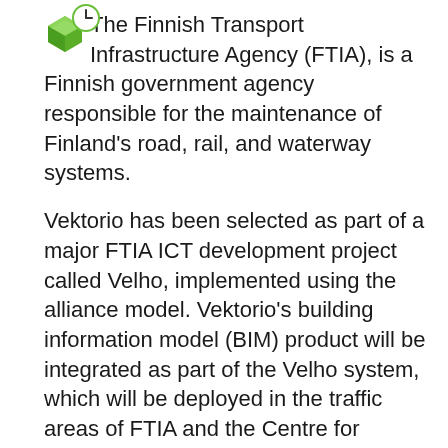The Finnish Transport Infrastructure Agency (FTIA), is a Finnish government agency responsible for the maintenance of Finland's road, rail, and waterway systems.
Vektorio has been selected as part of a major FTIA ICT development project called Velho, implemented using the alliance model. Vektorio's building information model (BIM) product will be integrated as part of the Velho system, which will be deployed in the traffic areas of FTIA and the Centre for Economic Development, Transport and the Environment. The Velho system forms the backbone for information management of the FTIA's traffic network. The Velho BIM